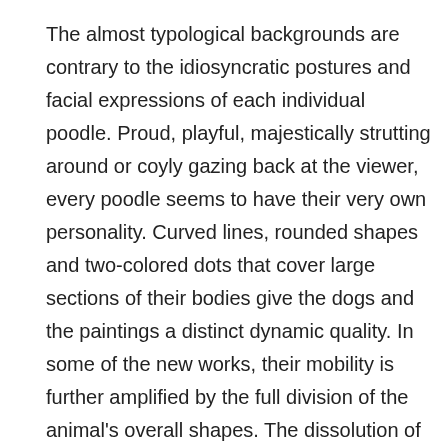The almost typological backgrounds are contrary to the idiosyncratic postures and facial expressions of each individual poodle. Proud, playful, majestically strutting around or coyly gazing back at the viewer, every poodle seems to have their very own personality. Curved lines, rounded shapes and two-colored dots that cover large sections of their bodies give the dogs and the paintings a distinct dynamic quality. In some of the new works, their mobility is further amplified by the full division of the animal's overall shapes. The dissolution of the body further abstracts the poodle while